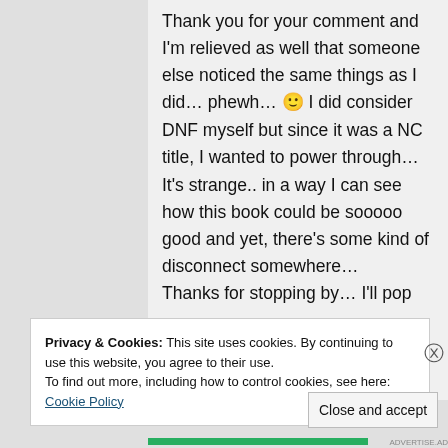Thank you for your comment and I'm relieved as well that someone else noticed the same things as I did... phewh... 🙂 I did consider DNF myself but since it was a NC title, I wanted to power through...
It's strange.. in a way I can see how this book could be sooooo good and yet, there's some kind of disconnect somewhere...
Thanks for stopping by... I'll pop
Privacy & Cookies: This site uses cookies. By continuing to use this website, you agree to their use.
To find out more, including how to control cookies, see here: Cookie Policy
Close and accept